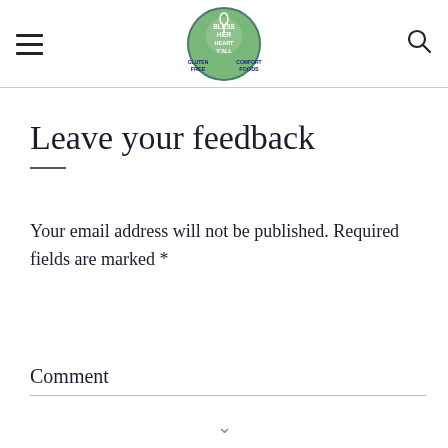Gluten Free — Bless Her Heart Y'all — Comfort Foods
Leave your feedback
Your email address will not be published. Required fields are marked *
Comment